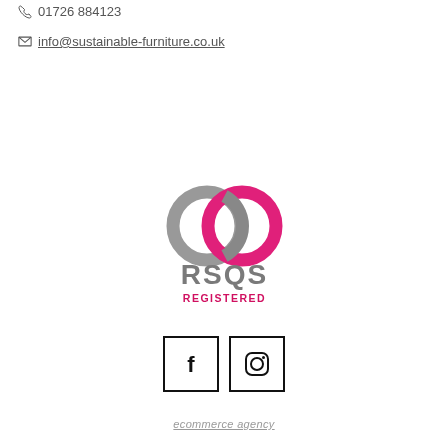01726 884123
info@sustainable-furniture.co.uk
[Figure (logo): RSQS Registered logo with two interlocking rings (grey and pink/magenta) above the text RSQS in grey and REGISTERED in pink/red]
[Figure (other): Social media icons: Facebook (f) and Instagram (camera) each in a square border box]
ecommerce agency